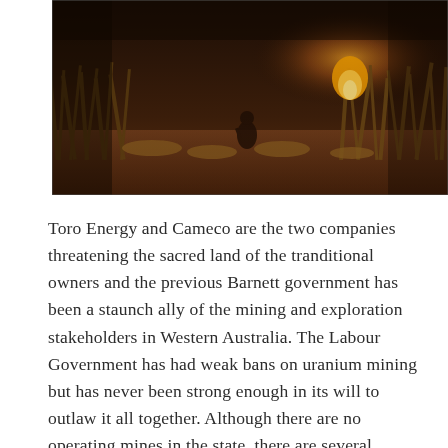[Figure (photo): A dark, dusk or dawn outdoor scene showing a figure in the background near a fire or bright light, surrounded by tall dry grass on red earth. The scene is moody and atmospheric with warm orange tones from the fire contrasting with the dark browns and golds of the grassland.]
Toro Energy and Cameco are the two companies threatening the sacred land of the tranditional owners and the previous Barnett government has been a staunch ally of the mining and exploration stakeholders in Western Australia. The Labour Government has had weak bans on uranium mining but has never been strong enough in its will to outlaw it all together. Although there are no operating mines in the state, there are several proposed sites which have been closed off and are threatening to be operated in the near future if we don't stake a stand against them. If these mines